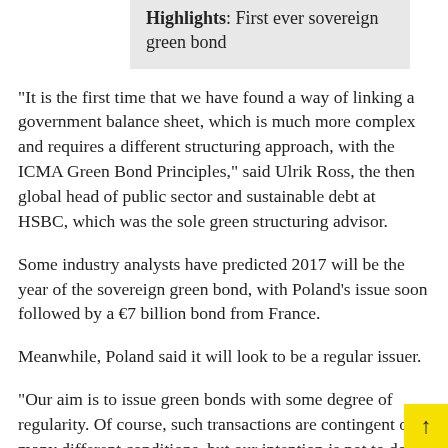Highlights: First ever sovereign green bond
"It is the first time that we have found a way of linking a government balance sheet, which is much more complex and requires a different structuring approach, with the ICMA Green Bond Principles," said Ulrik Ross, the then global head of public sector and sustainable debt at HSBC, which was the sole green structuring advisor.
Some industry analysts have predicted 2017 will be the year of the sovereign green bond, with Poland's issue soon followed by a €7 billion bond from France.
Meanwhile, Poland said it will look to be a regular issuer.
"Our aim is to issue green bonds with some degree of regularity. Of course, such transactions are contingent on many different conditions, but our intention is not to do a one-off exercise," says Piotr Nowak,